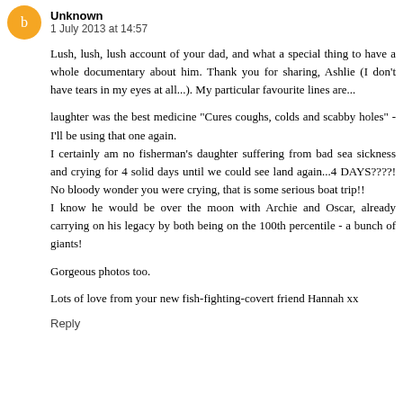Unknown 1 July 2013 at 14:57
Lush, lush, lush account of your dad, and what a special thing to have a whole documentary about him. Thank you for sharing, Ashlie (I don't have tears in my eyes at all...). My particular favourite lines are...
laughter was the best medicine "Cures coughs, colds and scabby holes" - I'll be using that one again.
I certainly am no fisherman's daughter suffering from bad sea sickness and crying for 4 solid days until we could see land again...4 DAYS????! No bloody wonder you were crying, that is some serious boat trip!!
I know he would be over the moon with Archie and Oscar, already carrying on his legacy by both being on the 100th percentile - a bunch of giants!
Gorgeous photos too.
Lots of love from your new fish-fighting-covert friend Hannah xx
Reply